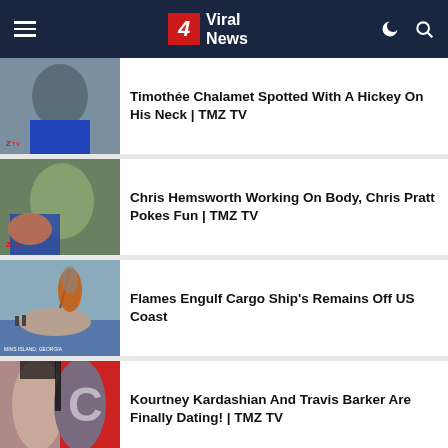4 Viral News
Timothée Chalamet Spotted With A Hickey On His Neck | TMZ TV
Chris Hemsworth Working On Body, Chris Pratt Pokes Fun | TMZ TV
Flames Engulf Cargo Ship's Remains Off US Coast
Kourtney Kardashian And Travis Barker Are Finally Dating! | TMZ TV